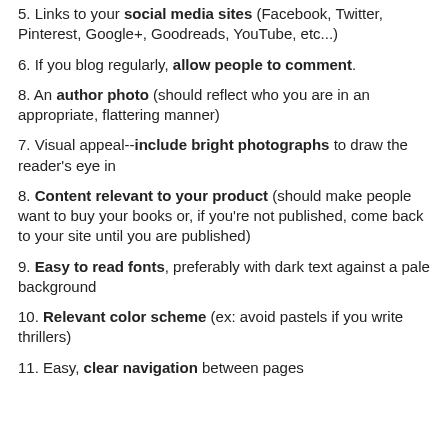5. Links to your social media sites (Facebook, Twitter, Pinterest, Google+, Goodreads, YouTube, etc...)
6. If you blog regularly, allow people to comment.
8. An author photo (should reflect who you are in an appropriate, flattering manner)
7. Visual appeal--include bright photographs to draw the reader's eye in
8. Content relevant to your product (should make people want to buy your books or, if you're not published, come back to your site until you are published)
9. Easy to read fonts, preferably with dark text against a pale background
10. Relevant color scheme (ex: avoid pastels if you write thrillers)
11. Easy, clear navigation between pages